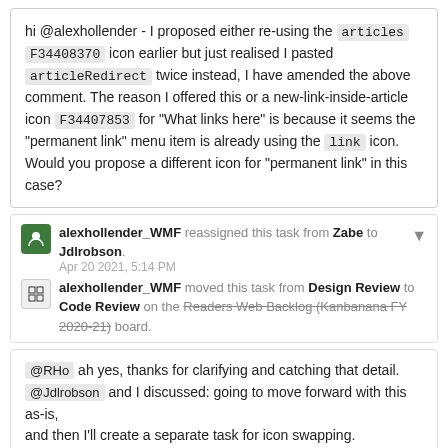hi @alexhollender - I proposed either re-using the articles F34408370 icon earlier but just realised I pasted articleRedirect twice instead, I have amended the above comment. The reason I offered this or a new-link-inside-article icon F34407853 for "What links here" is because it seems the "permanent link" menu item is already using the link icon. Would you propose a different icon for "permanent link" in this case?
alexhollender_WMF reassigned this task from Zabe to Jdlrobson. Apr 20 2021, 5:14 PM
alexhollender_WMF moved this task from Design Review to Code Review on the Readers Web Backlog (Kanbanana FY 2020-21) board.
@RHo ah yes, thanks for clarifying and catching that detail. @Jdlrobson and I discussed: going to move forward with this as-is, and then I'll create a separate task for icon swapping.